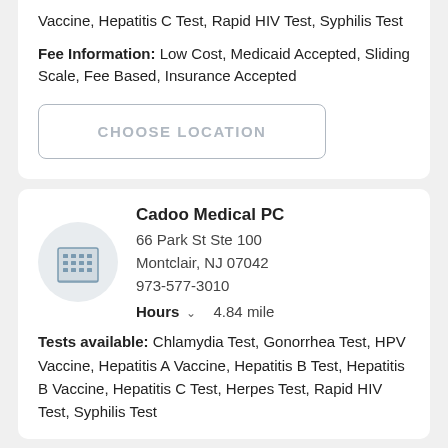Vaccine, Hepatitis C Test, Rapid HIV Test, Syphilis Test
Fee Information: Low Cost, Medicaid Accepted, Sliding Scale, Fee Based, Insurance Accepted
[Figure (other): Choose Location button with rounded border]
[Figure (other): Medical office building icon in circular gray background]
Cadoo Medical PC
66 Park St Ste 100
Montclair, NJ 07042
973-577-3010
Hours  4.84 mile
Tests available: Chlamydia Test, Gonorrhea Test, HPV Vaccine, Hepatitis A Vaccine, Hepatitis B Test, Hepatitis B Vaccine, Hepatitis C Test, Herpes Test, Rapid HIV Test, Syphilis Test